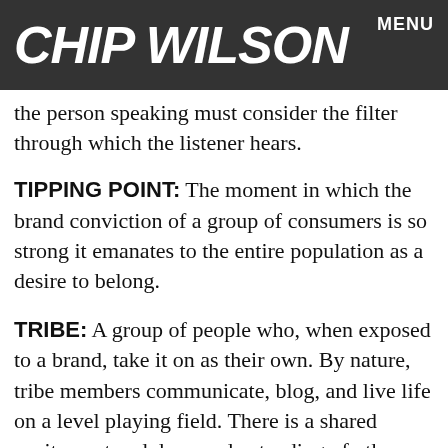CHIP WILSON  MENU
the person speaking must consider the filter through which the listener hears.
TIPPING POINT: The moment in which the brand conviction of a group of consumers is so strong it emanates to the entire population as a desire to belong.
TRIBE: A group of people who, when exposed to a brand, take it on as their own. By nature, tribe members communicate, blog, and live life on a level playing field. There is a shared excitement and deep understanding of other people's experience. A tribe is small at the start and is not